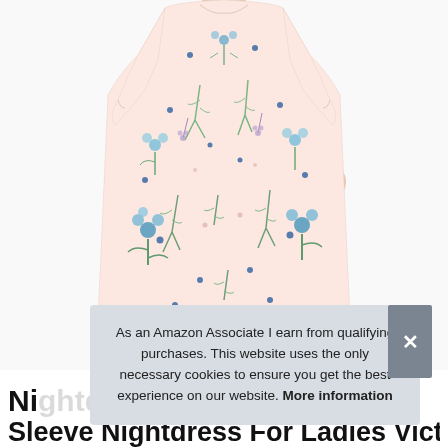[Figure (photo): Woman wearing a long floral nightdress with short sleeves. The dress is light pink/cream with blue and green floral pattern including small flowers, leaves, and botanical prints. The model is shown from neck to below knees against a white background.]
As an Amazon Associate I earn from qualifying purchases. This website uses the only necessary cookies to ensure you get the best experience on our website. More information
Nightdress Short Sleeve Nightdress For Ladies Victorian